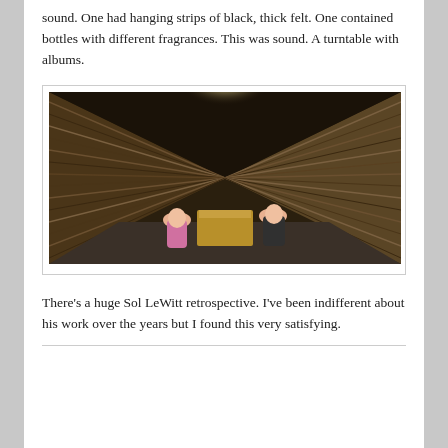sound. One had hanging strips of black, thick felt. One contained bottles with different fragrances. This was sound. A turntable with albums.
[Figure (photo): Two people sitting inside a large wood-paneled installation that converges to a bright light at the top, resembling a triangular or pyramid structure lined with wooden slats. They are seated around a small table or box in the center.]
There's a huge Sol LeWitt retrospective. I've been indifferent about his work over the years but I found this very satisfying.